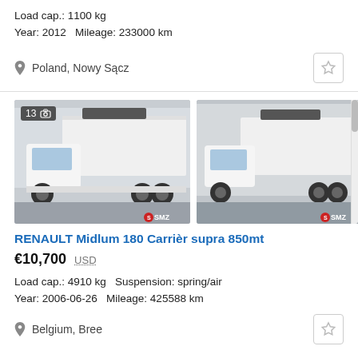Load cap.: 1100 kg
Year: 2012   Mileage: 233000 km
Poland, Nowy Sącz
[Figure (photo): Two white Renault Midlum trucks with refrigerated box bodies, showing front-side views. Left image has a photo count badge showing 13 photos.]
RENAULT Midlum 180 Carrièr supra 850mt
€10,700  USD
Load cap.: 4910 kg   Suspension: spring/air
Year: 2006-06-26   Mileage: 425588 km
Belgium, Bree